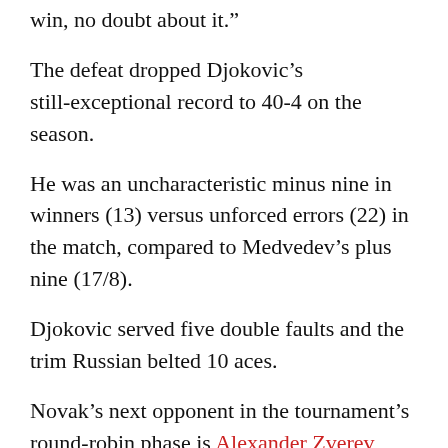"You know, he was a better player. [He] deserved to win, no doubt about it."
The defeat dropped Djokovic's still-exceptional record to 40-4 on the season.
He was an uncharacteristic minus nine in winners (13) versus unforced errors (22) in the match, compared to Medvedev's plus nine (17/8).
Djokovic served five double faults and the trim Russian belted 10 aces.
Novak's next opponent in the tournament's round-robin phase is Alexander Zverev, who is also 1-1 in the group after beating Diego Schwartzman this afternoon.
It'll be a winner-moves-on, loser-goes-home match that could be a classic.